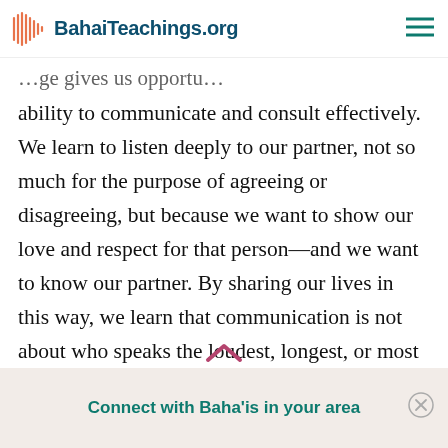BahaiTeachings.org
…age gives us opportu…
ability to communicate and consult effectively. We learn to listen deeply to our partner, not so much for the purpose of agreeing or disagreeing, but because we want to show our love and respect for that person—and we want to know our partner. By sharing our lives in this way, we learn that communication is not about who speaks the loudest, longest, or most often. It often involves not speaking at all, but rather listening to each other attentively. We find that we can consult in a
Connect with Baha'is in your area